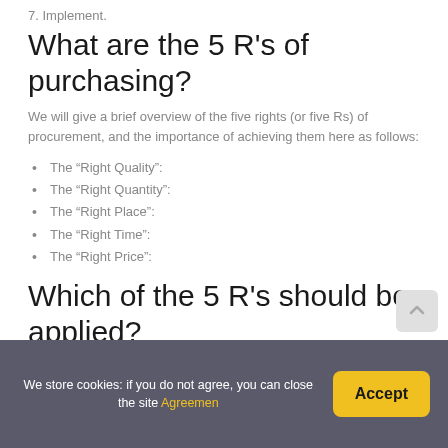7. Implement.
What are the 5 R’s of purchasing?
We will give a brief overview of the five rights (or five Rs) of procurement, and the importance of achieving them here as follows:
The “Right Quality”:
The “Right Quantity”:
The “Right Place”:
The “Right Time”:
The “Right Price”:
Which of the 5 R’s should be applied?
Five actions should respectively be taken if possible before
We store cookies: if you do not agree, you can close the site Agreemen